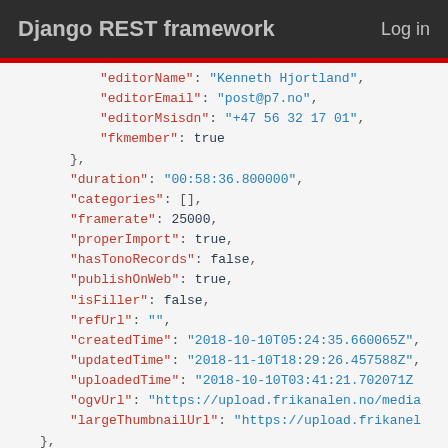Django REST framework   Log in
JSON code block showing API response fields: editorName, editorEmail, editorMsisdn, fkmember, duration, categories, framerate, properImport, hasTonoRecords, publishOnWeb, isFiller, refUrl, createdTime, updatedTime, uploadedTime, ogvUrl, largeThumbnailUrl, id, name, header